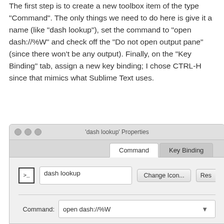The first step is to create a new toolbox item of the type "Command". The only things we need to do here is give it a name (like "dash lookup"), set the command to "open dash://%W" and check off the "Do not open output pane" (since there won't be any output). Finally, on the "Key Binding" tab, assign a new key binding; I chose CTRL-H since that mimics what Sublime Text uses.
[Figure (screenshot): A macOS properties dialog window titled "'dash lookup' Properties" showing a Command tab and Key Binding tab. The Command tab is active and shows a terminal icon, a text field with 'dash lookup', a 'Change Icon...' button, a Command field with 'open dash://%W', unchecked checkboxes for 'Insert output' and 'Pass selection as input', and an 'Advanced Options' header.]